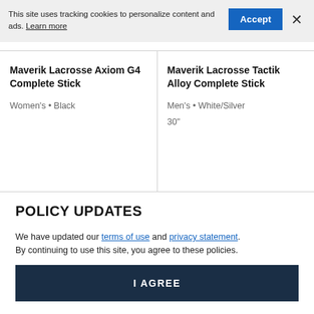This site uses tracking cookies to personalize content and ads. Learn more
Accept
×
Maverik Lacrosse Axiom G4 Complete Stick
Women's • Black
Maverik Lacrosse Tactik Alloy Complete Stick
Men's • White/Silver
30"
POLICY UPDATES
We have updated our terms of use and privacy statement. By continuing to use this site, you agree to these policies.
I AGREE